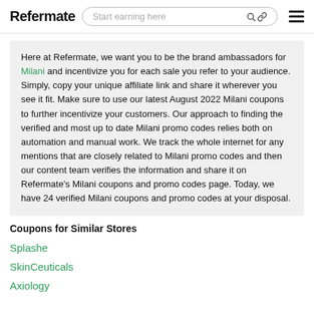Refermate | Start earning here
Here at Refermate, we want you to be the brand ambassadors for Milani and incentivize you for each sale you refer to your audience. Simply, copy your unique affiliate link and share it wherever you see it fit. Make sure to use our latest August 2022 Milani coupons to further incentivize your customers. Our approach to finding the verified and most up to date Milani promo codes relies both on automation and manual work. We track the whole internet for any mentions that are closely related to Milani promo codes and then our content team verifies the information and share it on Refermate's Milani coupons and promo codes page. Today, we have 24 verified Milani coupons and promo codes at your disposal.
Coupons for Similar Stores
Splashe
SkinCeuticals
Axiology